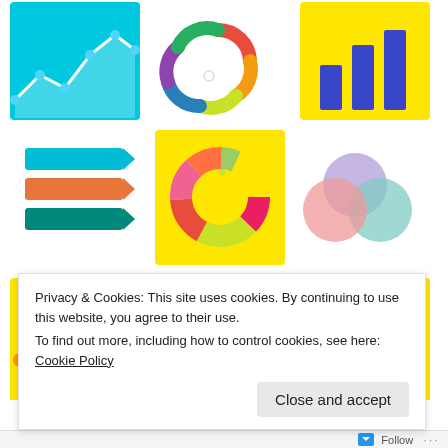[Figure (infographic): 3x3 grid of data visualization icons: row 1 - line chart on blue/cyan background, colorful circular/gear icon on white background, bar chart on yellow background; row 2 - stacked arrow/bar list on white background, donut/pie chart on yellow background, venn diagram of overlapping circles on white background; row 3 - network/mind map on yellow background, horizontal bar list on white background, pyramid chart on yellow background]
JANUARY 22, 2021 ~ ONLINE MARKETING JUICE
Privacy & Cookies: This site uses cookies. By continuing to use this website, you agree to their use.
To find out more, including how to control cookies, see here: Cookie Policy
Follow